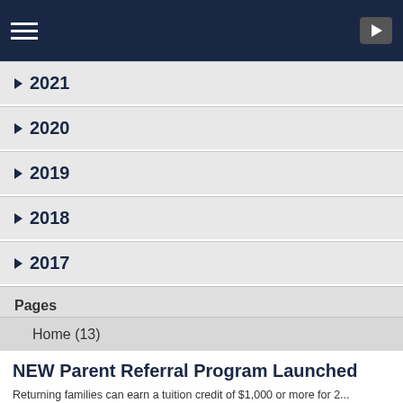Navigation bar with hamburger menu and play button
▶ 2021
▶ 2020
▶ 2019
▶ 2018
▶ 2017
Pages
Home (13)
NEW Parent Referral Program Launched
Returning families can earn a tuition credit of $1,000 or more for 2... September 1! Click on the title above to learn more!
Congratulations to Mrs. Sto